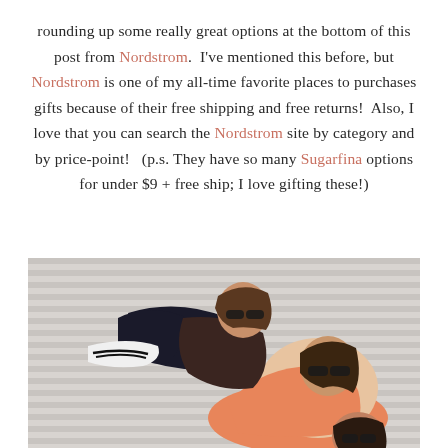rounding up some really great options at the bottom of this post from Nordstrom. I've mentioned this before, but Nordstrom is one of my all-time favorite places to purchases gifts because of their free shipping and free returns! Also, I love that you can search the Nordstrom site by category and by price-point! (p.s. They have so many Sugarfina options for under $9 + free ship; I love gifting these!)
[Figure (photo): Two women wearing sunglasses posing in front of a white corrugated metal wall. One woman in a colorful orange/peach hoodie is crouching, while another woman in black pants and white Adidas sneakers is leaning on her back playfully.]